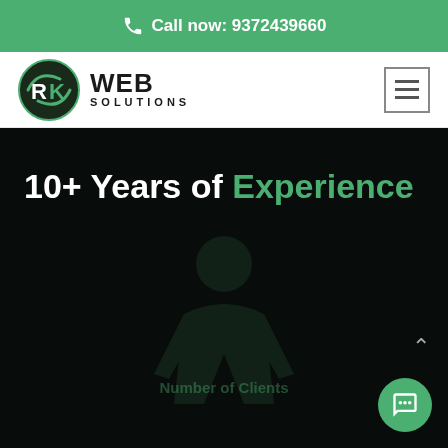Call now: 9372439660
[Figure (logo): RK Web Solutions logo — circular green and dark emblem with 'RK' letters, beside bold text 'WEB SOLUTIONS']
10+ Years of Experience
[Figure (illustration): Faint dark silhouette of a person overlaid on dark background]
Number of Clients